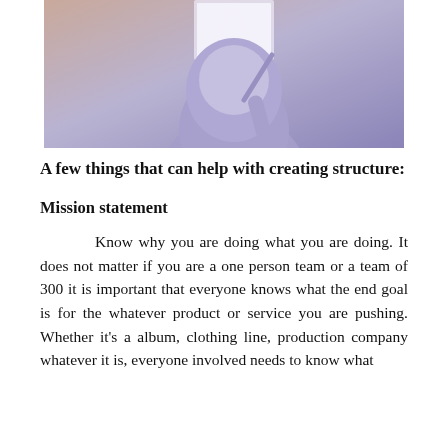[Figure (photo): A person in a purple/lavender hoodie standing at an easel or whiteboard, photographed from the chest down, with a pinkish-tan background.]
A few things that can help with creating structure:
Mission statement
Know why you are doing what you are doing. It does not matter if you are a one person team or a team of 300 it is important that everyone knows what the end goal is for the whatever product or service you are pushing. Whether it's a album, clothing line, production company whatever it is, everyone involved needs to know what